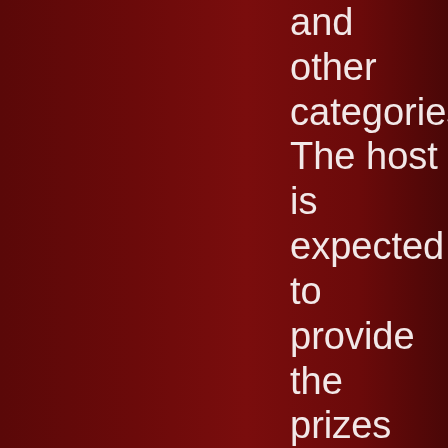and other categories. The host is expected to provide the prizes for those honored with awards. All guests